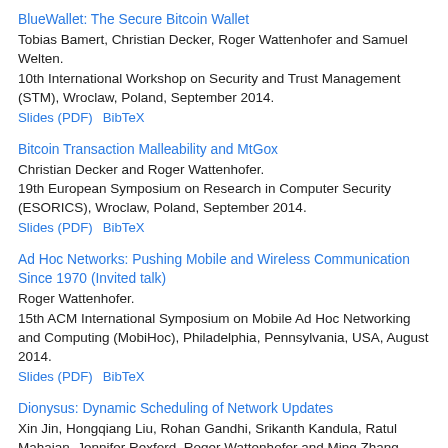BlueWallet: The Secure Bitcoin Wallet
Tobias Bamert, Christian Decker, Roger Wattenhofer and Samuel Welten.
10th International Workshop on Security and Trust Management (STM), Wroclaw, Poland, September 2014.
Slides (PDF)    BibTeX
Bitcoin Transaction Malleability and MtGox
Christian Decker and Roger Wattenhofer.
19th European Symposium on Research in Computer Security (ESORICS), Wroclaw, Poland, September 2014.
Slides (PDF)    BibTeX
Ad Hoc Networks: Pushing Mobile and Wireless Communication Since 1970 (Invited talk)
Roger Wattenhofer.
15th ACM International Symposium on Mobile Ad Hoc Networking and Computing (MobiHoc), Philadelphia, Pennsylvania, USA, August 2014.
Slides (PDF)    BibTeX
Dionysus: Dynamic Scheduling of Network Updates
Xin Jin, Hongqiang Liu, Rohan Gandhi, Srikanth Kandula, Ratul Mahajan, Jennifer Rexford, Roger Wattenhofer and Ming Zhang.
Annual Conference of the ACM Special Interest Group on Data Communication (SIGCOMM), Chicago, Illinois, USA, August 2014.
BibTeX
How even Tiny Influence can have a Big Impact!